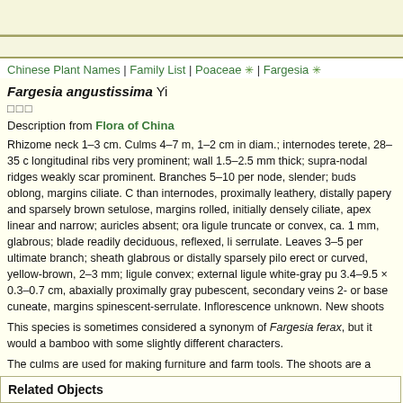Chinese Plant Names | Family List | Poaceae | Fargesia
Fargesia angustissima Yi
□□□
Description from Flora of China
Rhizome neck 1–3 cm. Culms 4–7 m, 1–2 cm in diam.; internodes terete, 28–35 c longitudinal ribs very prominent; wall 1.5–2.5 mm thick; supra-nodal ridges weakly scar prominent. Branches 5–10 per node, slender; buds oblong, margins ciliate. C than internodes, proximally leathery, distally papery and sparsely brown setulose, margins rolled, initially densely ciliate, apex linear and narrow; auricles absent; ora ligule truncate or convex, ca. 1 mm, glabrous; blade readily deciduous, reflexed, li serrulate. Leaves 3–5 per ultimate branch; sheath glabrous or distally sparsely pilo erect or curved, yellow-brown, 2–3 mm; ligule convex; external ligule white-gray pu 3.4–9.5 × 0.3–0.7 cm, abaxially proximally gray pubescent, secondary veins 2- or base cuneate, margins spinescent-serrulate. Inflorescence unknown. New shoots
This species is sometimes considered a synonym of Fargesia ferax, but it would a bamboo with some slightly different characters.
The culms are used for making furniture and farm tools. The shoots are a source o
* 800–1600 m. W Sichuan.
Related Objects